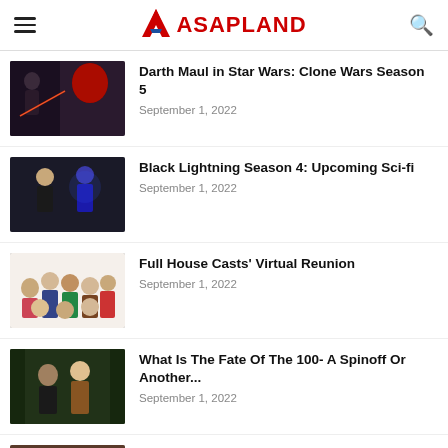ASAPLAND
Darth Maul in Star Wars: Clone Wars Season 5 — September 1, 2022
Black Lightning Season 4: Upcoming Sci-fi — September 1, 2022
Full House Casts' Virtual Reunion — September 1, 2022
What Is The Fate Of The 100- A Spinoff Or Another... — September 1, 2022
[Figure (photo): Partial thumbnail of another article at page bottom]